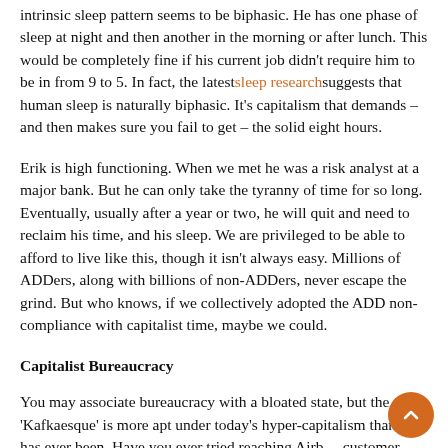intrinsic sleep pattern seems to be biphasic. He has one phase of sleep at night and then another in the morning or after lunch. This would be completely fine if his current job didn't require him to be in from 9 to 5. In fact, the latest sleep research suggests that human sleep is naturally biphasic. It's capitalism that demands – and then makes sure you fail to get – the solid eight hours.
Erik is high functioning. When we met he was a risk analyst at a major bank. But he can only take the tyranny of time for so long. Eventually, usually after a year or two, he will quit and need to reclaim his time, and his sleep. We are privileged to be able to afford to live like this, though it isn't always easy. Millions of ADDers, along with billions of non-ADDers, never escape the grind. But who knows, if we collectively adopted the ADD non-compliance with capitalist time, maybe we could.
Capitalist Bureaucracy
You may associate bureaucracy with a bloated state, but the term 'Kafkaesque' is more apt under today's hyper-capitalism than it has ever been. Have you ever tried reaching Airbnb customer service? The late David Graeber argued that the notion of bureaucracy as just a problem of a large state is